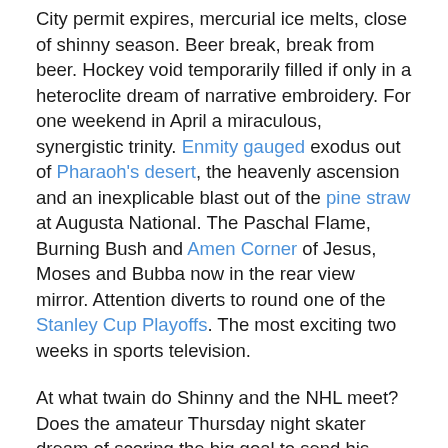City permit expires, mercurial ice melts, close of shinny season. Beer break, break from beer. Hockey void temporarily filled if only in a heteroclite dream of narrative embroidery. For one weekend in April a miraculous, synergistic trinity. Enmity gauged exodus out of Pharaoh's desert, the heavenly ascension and an inexplicable blast out of the pine straw at Augusta National. The Paschal Flame, Burning Bush and Amen Corner of Jesus, Moses and Bubba now in the rear view mirror. Attention diverts to round one of the Stanley Cup Playoffs. The most exciting two weeks in sports television.
At what twain do Shinny and the NHL meet? Does the amateur Thursday night skater dream of scoring the big goal to send his team to the second round? No. But does he wonder what wine to open when Crosby, Malkin and Fleury face the big bad Philadelphia Flyers on